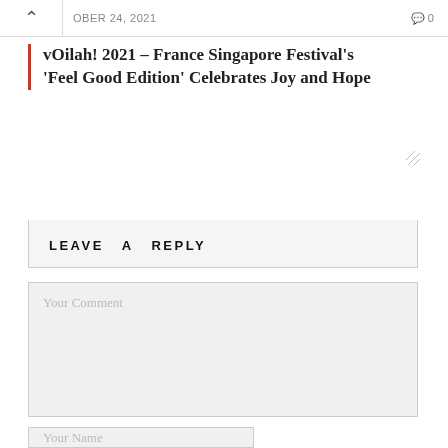OBER 24, 2021   0
vOilah! 2021 – France Singapore Festival's 'Feel Good Edition' Celebrates Joy and Hope
LEAVE A REPLY
Your Comment
Your Name